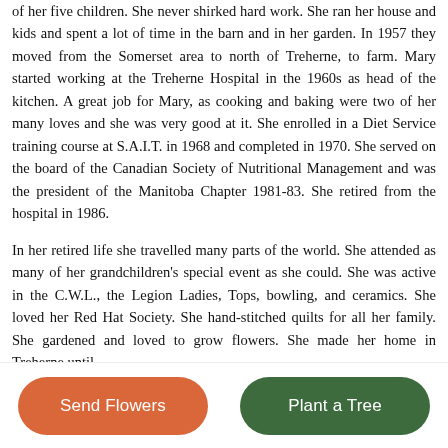of her five children.  She never shirked hard work. She ran her house and kids and spent a lot of time in the barn and in her garden.  In 1957 they moved from the Somerset area to north of Treherne, to farm.  Mary started working at the Treherne Hospital in the 1960s as head of the kitchen.  A great job for Mary, as cooking and baking were two of her many loves and she was very good at it.  She enrolled in a Diet Service training course at S.A.I.T. in 1968 and completed in 1970.  She served on the board of the Canadian Society of Nutritional Management and was the president of the Manitoba Chapter 1981-83. She retired from the hospital in 1986.
In her retired life she travelled many parts of the world.  She attended as many of her grandchildren's special event as she could.  She was active in the C.W.L., the Legion Ladies, Tops, bowling, and ceramics.  She loved her Red Hat Society.  She hand-stitched quilts for all her family.  She gardened and loved to grow flowers.  She made her home in Treherne until
Send Flowers
Plant a Tree